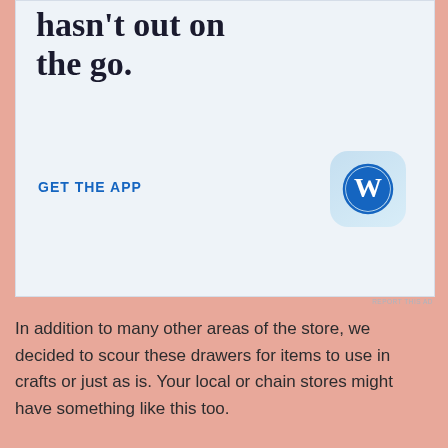[Figure (screenshot): WordPress app advertisement banner with partial heading text 'hasn't out on the go.' and 'GET THE APP' CTA with WordPress logo icon on light blue background]
In addition to many other areas of the store, we decided to scour these drawers for items to use in crafts or just as is. Your local or chain stores might have something like this too.
[Figure (photo): Dark interior photo of a store, showing overhead lighting and shelving units]
Advertisements
[Figure (screenshot): Seamless food delivery advertisement showing pizza and 'ORDER NOW' call to action]